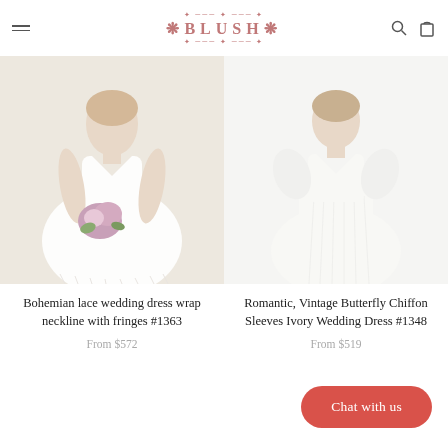BLUSH — navigation header with logo, hamburger menu, search icon, and bag icon
[Figure (photo): Bride wearing bohemian lace wedding dress with wrap neckline and fringes, holding a flower bouquet, cream/beige background]
[Figure (photo): Bride wearing romantic vintage butterfly chiffon sleeves ivory wedding dress, white background]
Bohemian lace wedding dress wrap neckline with fringes #1363
From $572
Romantic, Vintage Butterfly Chiffon Sleeves Ivory Wedding Dress #1348
From $519
Chat with us